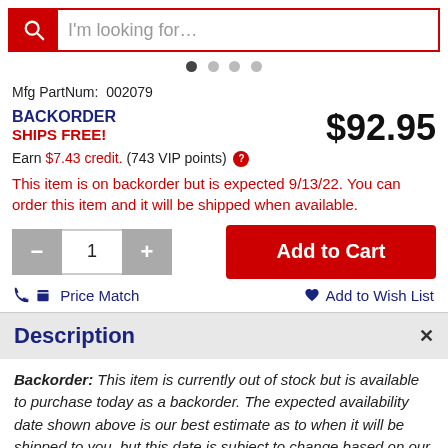[Figure (screenshot): Search bar with red magnifying glass icon and placeholder text 'I'm looking for...']
[Figure (other): Pagination dots — four circles, first one filled dark, rest light gray]
Mfg PartNum:  002079
BACKORDER
SHIPS FREE!
$92.95
Earn $7.43 credit. (743 VIP points) ?
This item is on backorder but is expected 9/13/22. You can order this item and it will be shipped when available.
[Figure (screenshot): Quantity selector with minus button, value 1, plus button, and Add to Cart red button]
Price Match    Add to Wish List
Description
Backorder: This item is currently out of stock but is available to purchase today as a backorder. The expected availability date shown above is our best estimate as to when it will be shipped to you, but this date is subject to change based on our receipt of this item from its vendor. Shipping in the continental US is